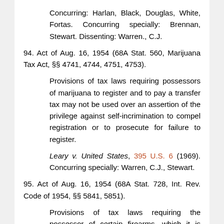Concurring: Harlan, Black, Douglas, White, Fortas. Concurring specially: Brennan, Stewart. Dissenting: Warren., C.J.
94. Act of Aug. 16, 1954 (68A Stat. 560, Marijuana Tax Act, §§ 4741, 4744, 4751, 4753).
Provisions of tax laws requiring possessors of marijuana to register and to pay a transfer tax may not be used over an assertion of the privilege against self-incrimination to compel registration or to prosecute for failure to register.
Leary v. United States, 395 U.S. 6 (1969). Concurring specially: Warren, C.J., Stewart.
95. Act of Aug. 16, 1954 (68A Stat. 728, Int. Rev. Code of 1954, §§ 5841, 5851).
Provisions of tax laws requiring the possessor of certain firearms, which it is made illegal to receive or